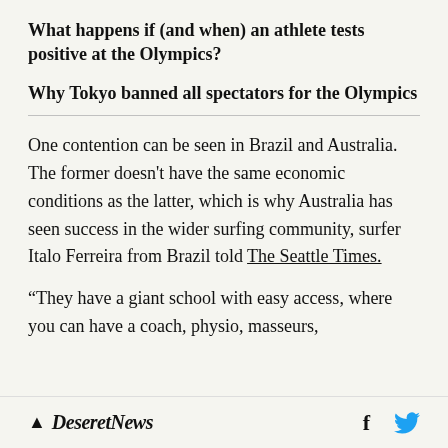What happens if (and when) an athlete tests positive at the Olympics?
Why Tokyo banned all spectators for the Olympics
One contention can be seen in Brazil and Australia. The former doesn't have the same economic conditions as the latter, which is why Australia has seen success in the wider surfing community, surfer Italo Ferreira from Brazil told The Seattle Times.
“They have a giant school with easy access, where you can have a coach, physio, masseurs,
Deseret News